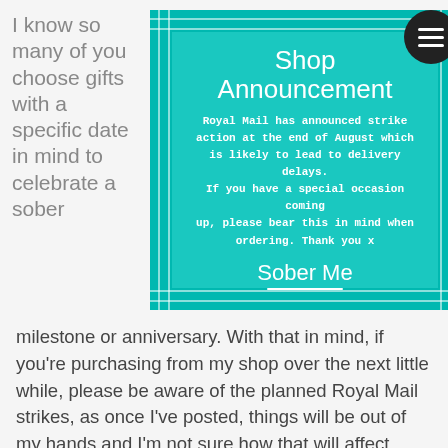I know so many of you choose gifts with a specific date in mind to celebrate a sober
[Figure (infographic): Shop Announcement card on teal background with grid border pattern and hamburger menu icon. Text reads: Royal Mail has announced strike action at the end of August which is likely to lead to delivery delays. If you have a special occasion coming up, please bear this in mind when ordering. Thank you x. Signed with Sober Me logo.]
milestone or anniversary. With that in mind, if you're purchasing from my shop over the next little while, please be aware of the planned Royal Mail strikes, as once I've posted, things will be out of my hands and I'm not sure how that will affect deliveries. Thanks so much x